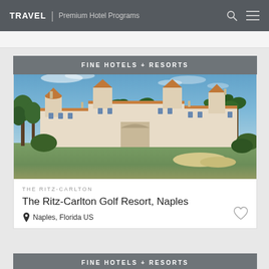TRAVEL | Premium Hotel Programs
FINE HOTELS + RESORTS
[Figure (photo): Exterior photo of The Ritz-Carlton Golf Resort, Naples showing a large Mediterranean-style hotel building with red/terracotta tiled roofs and towers, surrounded by palm trees, set against a blue sky with a golf course green in the foreground.]
THE RITZ-CARLTON
The Ritz-Carlton Golf Resort, Naples
Naples, Florida US
FINE HOTELS + RESORTS